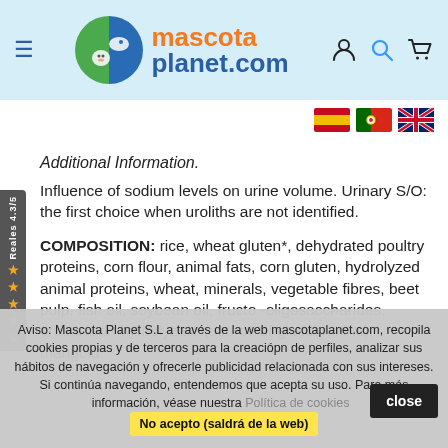[Figure (logo): Mascota Planet.com logo with circular pet icon (green/blue fish and dog face) and orange 'mascota' / blue 'planet.com' text]
[Figure (infographic): Three flag icons: Spain, Portugal, UK]
[Figure (infographic): Side rating bar showing 'Reales 4.3/5' with 4 gold stars and 1 grey star]
Additional Information.
Influence of sodium levels on urine volume. Urinary S/O: the first choice when uroliths are not identified.
COMPOSITION: rice, wheat gluten*, dehydrated poultry proteins, corn flour, animal fats, corn gluten, hydrolyzed animal proteins, wheat, minerals, vegetable fibres, beet pulp, fish oil, soybean oil, fructo -oligosaccharides, crustacean hydrolyzate (source of glucosamine), marigold
Aviso: Mascota Planet S.L a través de la web mascotaplanet.com, recopila cookies propias y de terceros para la creaciópn de perfiles, analizar sus hábitos de navegación y ofrecerle publicidad relacionada con sus intereses. Si continúa navegando, entendemos que acepta su uso. Para más información, véase nuestra Política de cookies  No acepto (saldrá de la web)